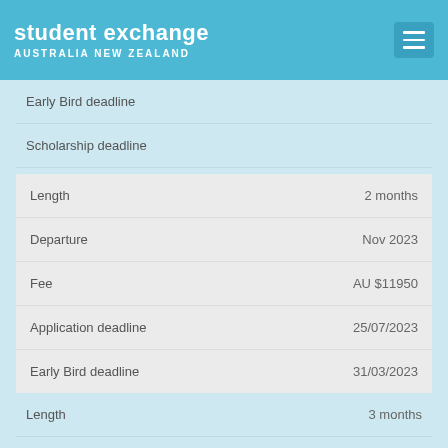student exchange AUSTRALIA NEW ZEALAND
| Field | Value |
| --- | --- |
| Early Bird deadline |  |
| Scholarship deadline |  |
| Length | 2 months |
| Departure | Nov 2023 |
| Fee | AU $11950 |
| Application deadline | 25/07/2023 |
| Early Bird deadline | 31/03/2023 |
| Length | 3 months |
| Departure | Nov 2023 |